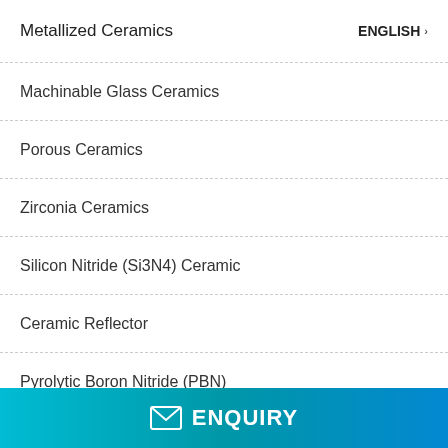Metallized Ceramics
ENGLISH
Machinable Glass Ceramics
Porous Ceramics
Zirconia Ceramics
Silicon Nitride (Si3N4) Ceramic
Ceramic Reflector
Pyrolytic Boron Nitride (PBN)
Oxygen Sensor Heater
ENQUIRY